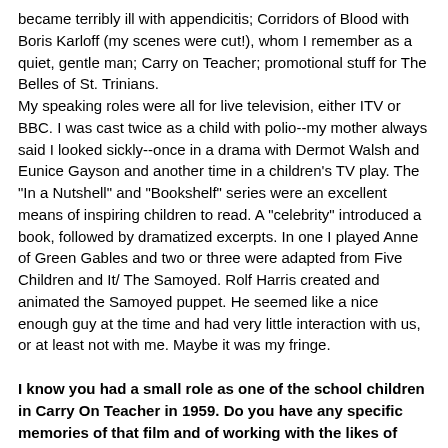became terribly ill with appendicitis; Corridors of Blood with Boris Karloff (my scenes were cut!), whom I remember as a quiet, gentle man; Carry on Teacher; promotional stuff for The Belles of St. Trinians.
My speaking roles were all for live television, either ITV or BBC. I was cast twice as a child with polio--my mother always said I looked sickly--once in a drama with Dermot Walsh and Eunice Gayson and another time in a children's TV play. The "In a Nutshell" and "Bookshelf" series were an excellent means of inspiring children to read. A "celebrity" introduced a book, followed by dramatized excerpts. In one I played Anne of Green Gables and two or three were adapted from Five Children and It/ The Samoyed. Rolf Harris created and animated the Samoyed puppet. He seemed like a nice enough guy at the time and had very little interaction with us, or at least not with me. Maybe it was my fringe.
I know you had a small role as one of the school children in Carry On Teacher in 1959. Do you have any specific memories of that film and of working with the likes of Kenneth Williams?
Kenneth Williams was the host of one of these series for a while, although I didn't actually meet him until working on Carry on Teacher. I found him to be utterly charming; he was kind, even seeming interested, in an inconsequential, unattractive kid. He asked me if I would like a cup of tea, brought it to me with a currant bun and sat chatting. I loved him for that. I believe that the affection of the public for performers of the 1950s-1960s...